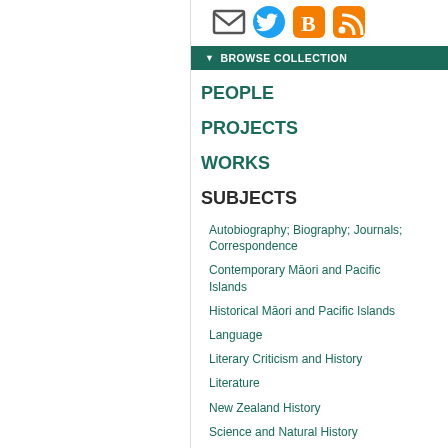[Figure (infographic): Row of social media icons: email envelope, Twitter bird, Blogger B, RSS feed orange icon]
▼ BROWSE COLLECTION
PEOPLE
PROJECTS
WORKS
SUBJECTS
Autobiography; Biography; Journals; Correspondence
Contemporary Māori and Pacific Islands
Historical Māori and Pacific Islands
Language
Literary Criticism and History
Literature
New Zealand History
Science and Natural History